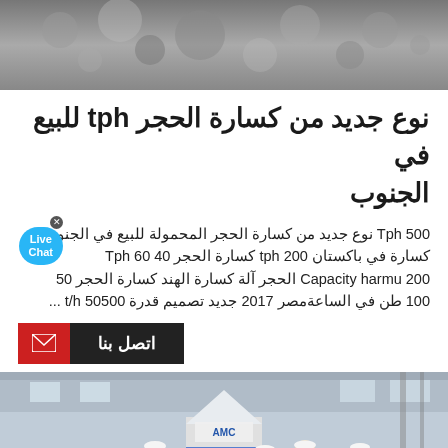[Figure (photo): Top image showing gravel or crushed stone aggregate material]
نوع جديد من كسارة الحجر tph للبيع في الجنوب
Tph 500 نوع جديد من كسارة الحجر المحمولة للبيع في الجنوب كسارة في باكستان tph 200 كسارة الحجر 40 60 Tph Capacity harmfu 200 الحجر آلة كسارة الهند كسارة الحجر 50 100 طن في الساعةمصر 2017 جديد تصميم قدرة 50500 t/h ...
[Figure (other): Live Chat bubble overlay]
اتصل بنا
[Figure (photo): Factory interior photo showing workers in hard hats standing around large industrial grinding/milling machine with AMC branding]